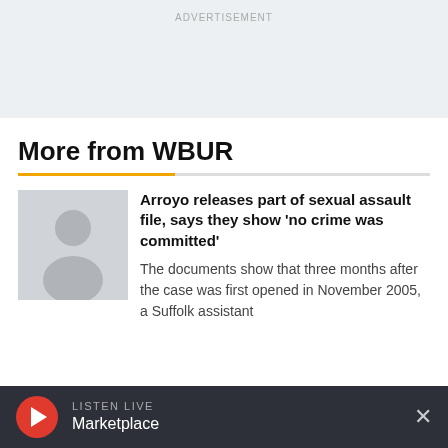ADVERTISEMENT
More from WBUR
[Figure (photo): Thumbnail photo of a person, grayscale placeholder image]
Arroyo releases part of sexual assault file, says they show 'no crime was committed'
The documents show that three months after the case was first opened in November 2005, a Suffolk assistant
LISTEN LIVE
Marketplace